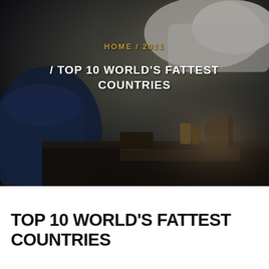[Figure (photo): Dark moody interior photo of a living room with a blue armchair, white pillows/sofa, and a dark coffee table with objects on it. Low-key lighting with dark tones.]
HOME / 2011
/ TOP 10 WORLD'S FATTEST COUNTRIES
TOP 10 WORLD'S FATTEST COUNTRIES